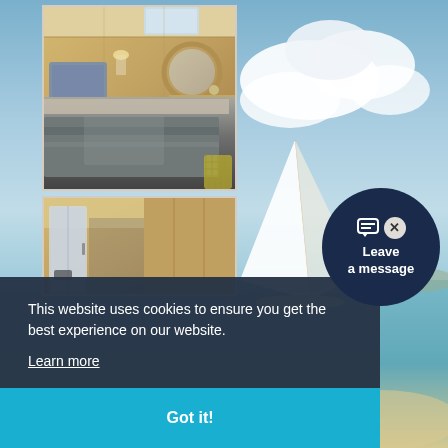[Figure (photo): Yacht interior cabin photo showing a bed with grey/blue bedding, wooden wall paneling, round porthole mirror, and wall lamp]
[Figure (photo): Yacht interior lower cabin photo showing a door/shower area with wooden paneling]
[Figure (photo): Background ocean/sky scene with a sailboat on calm turquoise water under a partly cloudy sky]
Leave a message
This website uses cookies to ensure you get the best experience on our website.
Learn more
Got it!